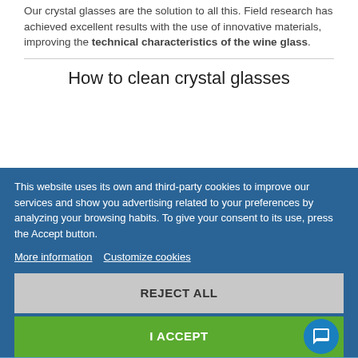Our crystal glasses are the solution to all this. Field research has achieved excellent results with the use of innovative materials, improving the technical characteristics of the wine glass.
How to clean crystal glasses
Crystal glasses are characterized by a particular brilliance and brightness. The crystal that applies to both the restaurant industry and the display case for a long time makes them sensitive to dust and impurities. When we have guests it is a good rule to equip the table with
This website uses its own and third-party cookies to improve our services and show you advertising related to your preferences by analyzing your browsing habits. To give your consent to its use, press the Accept button.
More information   Customize cookies
REJECT ALL
I ACCEPT